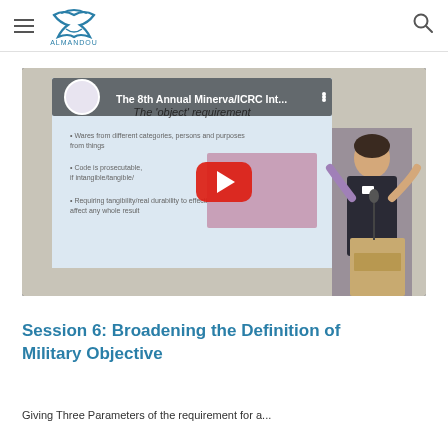ALMANDOU — navigation header with hamburger menu, logo, and search icon
[Figure (screenshot): YouTube video thumbnail showing 'The 8th Annual Minerva/ICRC Int...' — a woman presenting at a lectern in front of a projected slide titled 'The object requirement', with a YouTube play button overlay]
Session 6: Broadening the Definition of Military Objective
Giving Three Parameters of the requirement for a...